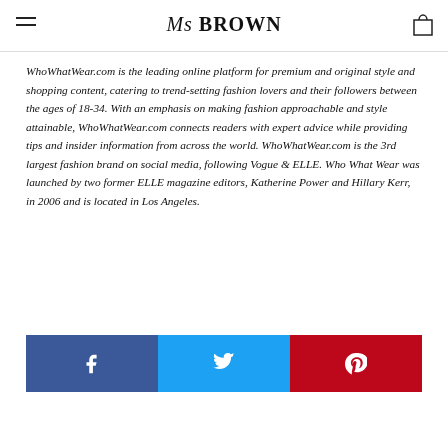Ms BROWN
WhoWhatWear.com is the leading online platform for premium and original style and shopping content, catering to trend-setting fashion lovers and their followers between the ages of 18-34. With an emphasis on making fashion approachable and style attainable, WhoWhatWear.com connects readers with expert advice while providing tips and insider information from across the world. WhoWhatWear.com is the 3rd largest fashion brand on social media, following Vogue & ELLE. Who What Wear was launched by two former ELLE magazine editors, Katherine Power and Hillary Kerr, in 2006 and is located in Los Angeles.
[Figure (infographic): Social media share buttons: Facebook (blue), Twitter (light blue), Pinterest (red) with respective icons]